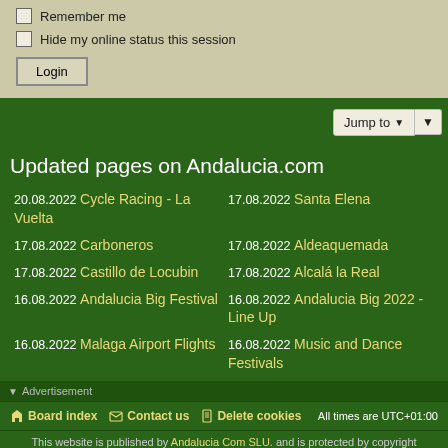Remember me
Hide my online status this session
Login
Jump to
Updated pages on Andalucia.com
20.08.2022 Cycle Racing - La Vuelta
17.08.2022 Santa Elena
17.08.2022 Carboneros
17.08.2022 Aldeaquemada
17.08.2022 Castillo de Locubin
17.08.2022 Alcalá la Real
16.08.2022 Andalucia Big Festival
16.08.2022 Andalucia Big 2022 - Line Up
16.08.2022 Malaga Airport Flights
16.08.2022 Music and Dance Festivals
Advertisement
Board index   Contact us   Delete cookies   All times are UTC+01:00
This website is published by Andalucia Com SLU. and is protected by copyright